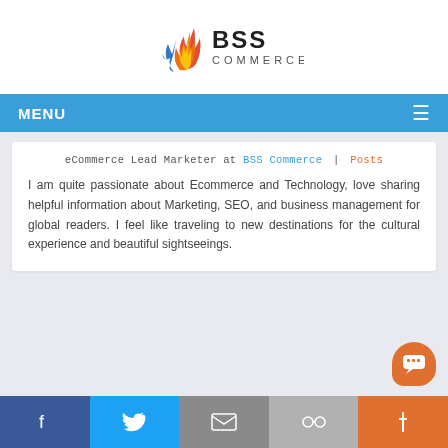[Figure (logo): BSS Commerce logo with flame icon in red/orange/blue and text BSS COMMERCE]
MENU
eCommerce Lead Marketer at BSS Commerce | Posts
I am quite passionate about Ecommerce and Technology, love sharing helpful information about Marketing, SEO, and business management for global readers. I feel like traveling to new destinations for the cultural experience and beautiful sightseeings.
Facebook | Twitter | Email | Links | Chat